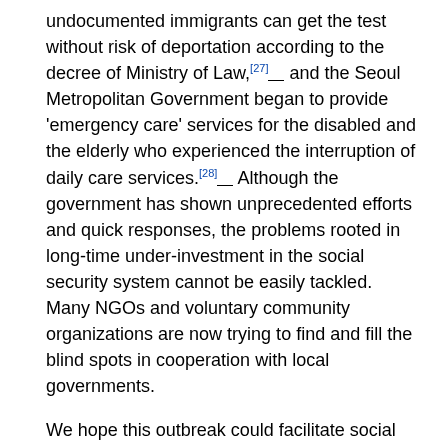undocumented immigrants can get the test without risk of deportation according to the decree of Ministry of Law,[27] and the Seoul Metropolitan Government began to provide 'emergency care' services for the disabled and the elderly who experienced the interruption of daily care services.[28] Although the government has shown unprecedented efforts and quick responses, the problems rooted in long-time under-investment in the social security system cannot be easily tackled. Many NGOs and voluntary community organizations are now trying to find and fill the blind spots in cooperation with local governments.
We hope this outbreak could facilitate social discussions for establishing a robust social protection system in Korea.
Participatory governance is needed dealing with pandemics.
It is unrealistic to expect that all systems are perfectly in place in advance of an unprecedented public health crisis such as COVID-19 pandemic. There are many loopholes in the Korean government's